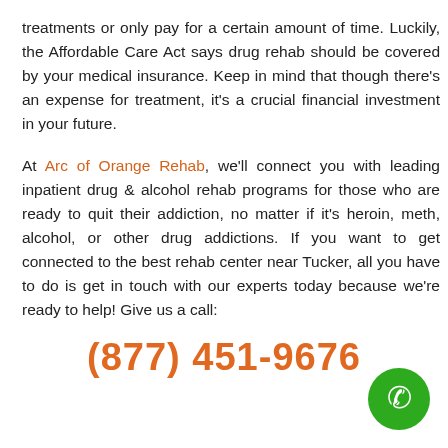treatments or only pay for a certain amount of time. Luckily, the Affordable Care Act says drug rehab should be covered by your medical insurance. Keep in mind that though there's an expense for treatment, it's a crucial financial investment in your future.
At Arc of Orange Rehab, we'll connect you with leading inpatient drug & alcohol rehab programs for those who are ready to quit their addiction, no matter if it's heroin, meth, alcohol, or other drug addictions. If you want to get connected to the best rehab center near Tucker, all you have to do is get in touch with our experts today because we're ready to help! Give us a call:
(877) 451-9676
[Figure (illustration): Green circular phone icon button in the bottom right corner]